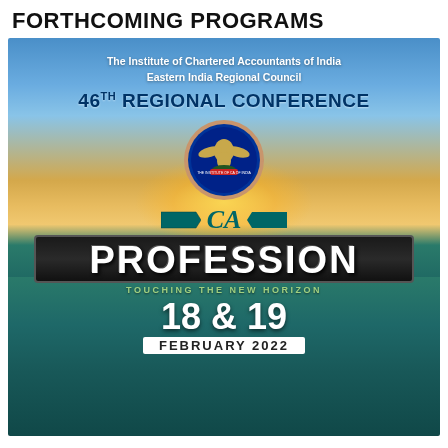FORTHCOMING PROGRAMS
[Figure (illustration): Conference promotional poster for the 46th Regional Conference of ICAI Eastern India Regional Council. Features a sunset/ocean background with the ICAI logo, CA logo, 'PROFESSION TOUCHING THE NEW HORIZON' text, and date 18 & 19 February 2022.]